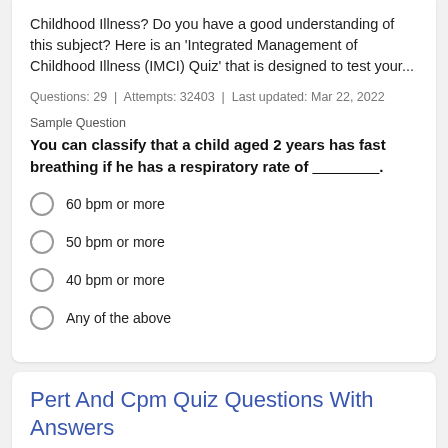Childhood Illness? Do you have a good understanding of this subject? Here is an 'Integrated Management of Childhood Illness (IMCI) Quiz' that is designed to test your...
Questions: 29  |  Attempts: 32403  |  Last updated: Mar 22, 2022
Sample Question
You can classify that a child aged 2 years has fast breathing if he has a respiratory rate of ________.
60 bpm or more
50 bpm or more
40 bpm or more
Any of the above
Pert And Cpm Quiz Questions With Answers
[Figure (illustration): PERT vs CPM logo text image with orange bold letters and a black circle with 'vs' in the center]